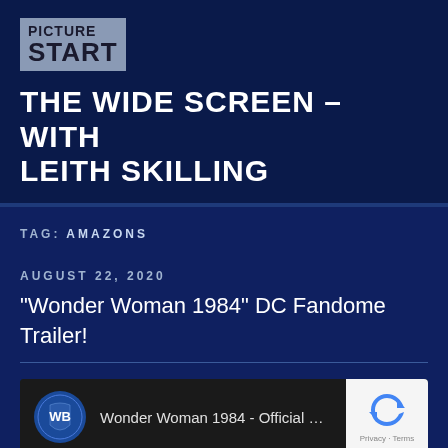[Figure (logo): Picture Start logo — grey box with bold text 'PICTURE' and 'START']
THE WIDE SCREEN – WITH LEITH SKILLING
TAG: AMAZONS
AUGUST 22, 2020
“Wonder Woman 1984” DC Fandome Trailer!
[Figure (screenshot): YouTube video embed showing WB logo and text 'Wonder Woman 1984 - Official ...' with reCAPTCHA privacy box in top right]